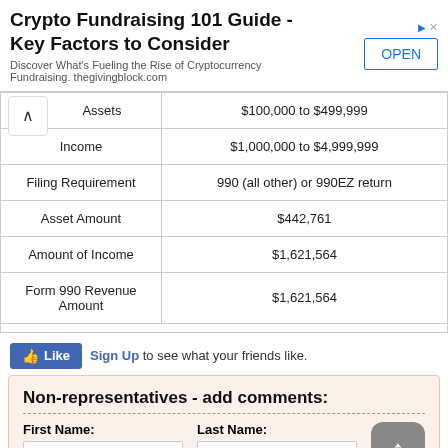[Figure (other): Advertisement banner for Crypto Fundraising 101 Guide with OPEN button]
| Assets | $100,000 to $499,999 |
| Income | $1,000,000 to $4,999,999 |
| Filing Requirement | 990 (all other) or 990EZ return |
| Asset Amount | $442,761 |
| Amount of Income | $1,621,564 |
| Form 990 Revenue Amount | $1,621,564 |
Like   Sign Up to see what your friends like.
Non-representatives - add comments:
First Name:
Last Name:
Email (will not be displayed publicly)